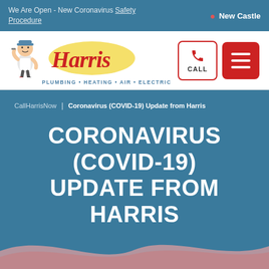We Are Open - New Coronavirus Safety Procedure | New Castle
[Figure (logo): Harris Plumbing Heating Air Electric logo with mascot plumber character]
CallHarrisNow | Coronavirus (COVID-19) Update from Harris
CORONAVIRUS (COVID-19) UPDATE FROM HARRIS